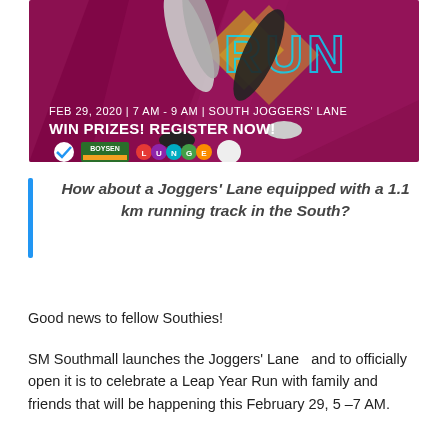[Figure (photo): Promotional banner for a running event. Dark magenta/maroon background with geometric shapes and a person running. Text reads: FEB 29, 2020 | 7 AM - 9 AM | SOUTH JOGGERS' LANE and WIN PRIZES! REGISTER NOW! Sponsor logos at bottom including Boysen and others.]
How about a Joggers' Lane equipped with a 1.1 km running track in the South?
Good news to fellow Southies!
SM Southmall launches the Joggers' Lane  and to officially open it is to celebrate a Leap Year Run with family and friends that will be happening this February 29, 5 –7 AM.